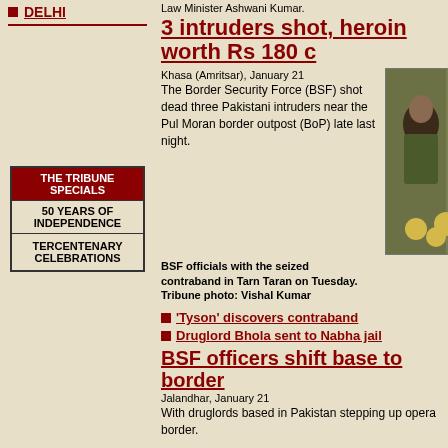DELHI
| THE TRIBUNE SPECIALS |
| --- |
| 50 YEARS OF INDEPENDENCE |
| TERCENTENARY CELEBRATIONS |
Law Minister Ashwani Kumar.
3 intruders shot, heroin worth Rs 180 c
Khasa (Amritsar), January 21
The Border Security Force (BSF) shot dead three Pakistani intruders near the Pul Moran border outpost (BoP) late last night.
[Figure (photo): BSF officials with seized contraband (yellow spheres/balls) in Tarn Taran. Two BSF officers in camouflage uniform are visible.]
BSF officials with the seized contraband in Tarn Taran on Tuesday. Tribune photo: Vishal Kumar
'Tyson' discovers contraband
Druglord Bhola sent to Nabha jail
BSF officers shift base to border
Jalandhar, January 21
With druglords based in Pakistan stepping up opera border.
Hope for 12 death row convicts
Patiala, January 21
With the Supreme Court ruling that death row conv respite for more than 12 convicts, including Beant Jasbir Singh, Jasbir Singh alias Jaswinder, Suraj Al Gurmukh Singh, Saleem, Judge Singh and Gurwai